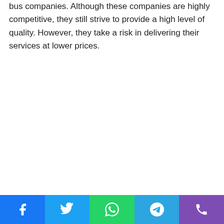bus companies. Although these companies are highly competitive, they still strive to provide a high level of quality. However, they take a risk in delivering their services at lower prices.
[Social share buttons: Facebook, Twitter, WhatsApp, Telegram, Phone]